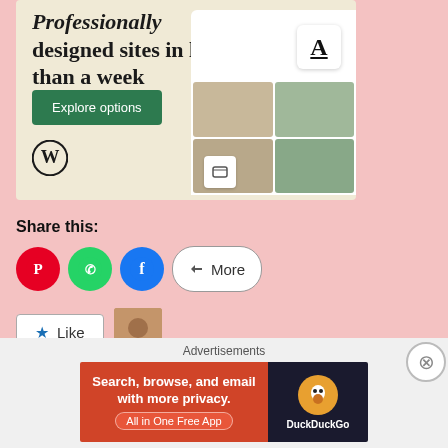[Figure (screenshot): WordPress.com advertisement banner showing 'Professionally designed sites in less than a week' with an Explore options button, WordPress logo, and website mockup screenshots]
Share this:
[Figure (infographic): Social sharing buttons: Pinterest (red circle), WhatsApp (green circle), Facebook (blue circle), and More button]
[Figure (infographic): Like button with star icon and blogger avatar thumbnail]
One blogger likes this.
Advertisements
[Figure (screenshot): DuckDuckGo advertisement banner: 'Search, browse, and email with more privacy. All in One Free App' with DuckDuckGo logo on dark background]